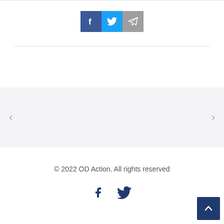[Figure (other): Social share buttons: Facebook (blue), Twitter (light blue), Telegram (grey)]
[Figure (other): Carousel navigation area with left and right arrow buttons on a light grey background]
© 2022 OD Action. All rights reserved
[Figure (other): Footer social icons: Facebook and Twitter in dark navy blue]
[Figure (other): Back to top button, dark navy square with upward chevron]